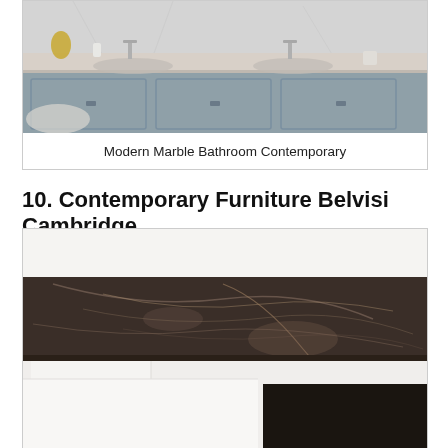[Figure (photo): Modern marble bathroom with gray cabinets, marble countertop, dual sinks and chrome faucets]
Modern Marble Bathroom Contemporary
10. Contemporary Furniture Belvisi Cambridge
[Figure (photo): Close-up of dark brown marble countertop on white modern furniture unit with open shelf below]